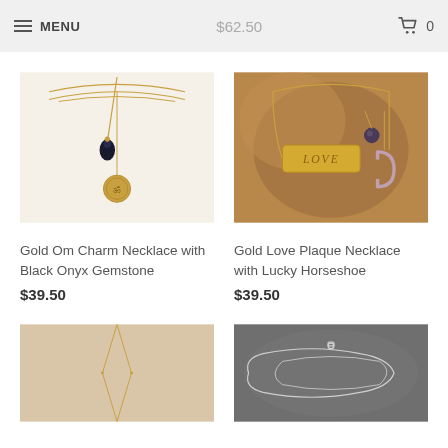MENU   $62.50   0
[Figure (photo): Gold Om Charm Necklace with Black Onyx Gemstone — layered gold chains with teardrop black onyx gem and round coin charm with Om symbol]
Gold Om Charm Necklace with Black Onyx Gemstone
$39.50
[Figure (photo): Gold Love Plaque Necklace with Lucky Horseshoe — gold bar engraved LOVE with horseshoe charm and dark bead on a stone surface]
Gold Love Plaque Necklace with Lucky Horseshoe
$39.50
[Figure (photo): Thin gold lariat or Y-necklace shown on a person's neckline against a light background]
[Figure (photo): Delicate silver chain necklace arranged on a dark stone surface]